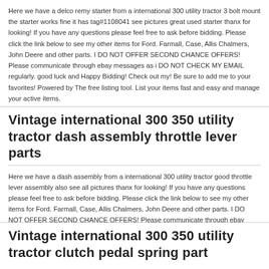Here we have a delco remy starter from a international 300 utility tractor 3 bolt mount the starter works fine it has tag#1108041 see pictures great used starter thanx for looking! If you have any questions please feel free to ask before bidding. Please click the link below to see my other items for Ford. Farmall, Case, Allis Chalmers, John Deere and other parts. I DO NOT OFFER SECOND CHANCE OFFERS! Please communicate through ebay messages as i DO NOT CHECK MY EMAIL regularly. good luck and Happy Bidding! Check out my! Be sure to add me to your favorites! Powered by The free listing tool. List your items fast and easy and manage your active items.
Vintage international 300 350 utility tractor dash assembly throttle lever parts
Here we have a dash assembly from a international 300 utility tractor good throttle lever assembly also see all pictures thanx for looking! If you have any questions please feel free to ask before bidding. Please click the link below to see my other items for Ford. Farmall, Case, Allis Chalmers, John Deere and other parts. I DO NOT OFFER SECOND CHANCE OFFERS! Please communicate through ebay messages as i DO NOT CHECK MY EMAIL regularly. good luck and Happy Bidding! Check out my! Be sure to add me to your favorites! Powered by The free listing tool. List your items fast and easy and manage your active items.
Vintage international 300 350 utility tractor clutch pedal spring part